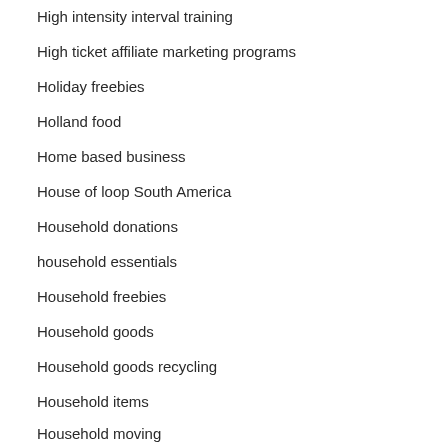High intensity interval training
High ticket affiliate marketing programs
Holiday freebies
Holland food
Home based business
House of loop South America
Household donations
household essentials
Household freebies
Household goods
Household goods recycling
Household items
Household moving
Household products